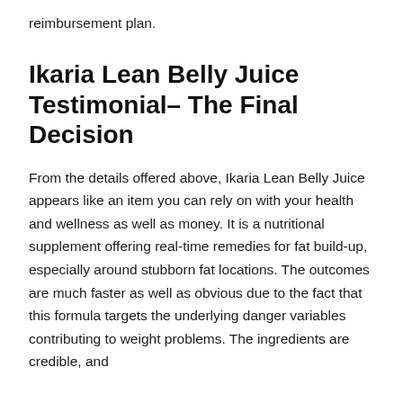reimbursement plan.
Ikaria Lean Belly Juice Testimonial– The Final Decision
From the details offered above, Ikaria Lean Belly Juice appears like an item you can rely on with your health and wellness as well as money. It is a nutritional supplement offering real-time remedies for fat build-up, especially around stubborn fat locations. The outcomes are much faster as well as obvious due to the fact that this formula targets the underlying danger variables contributing to weight problems. The ingredients are credible, and